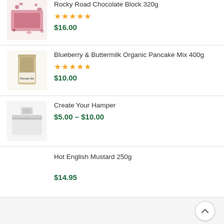Rocky Road Chocolate Block 320g — ★★★★★ — $16.00
Blueberry & Buttermilk Organic Pancake Mix 400g — ★★★★★ — $10.00
Create Your Hamper — $5.00 – $10.00
Hot English Mustard 250g — $14.95